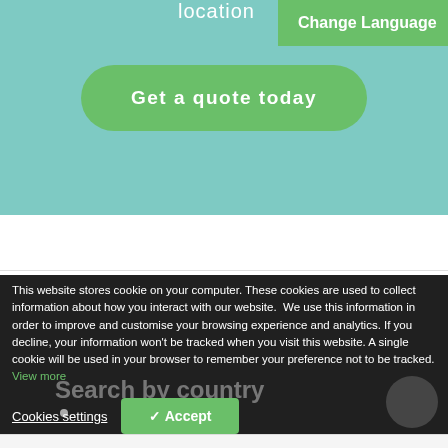location
Change Language
Get a quote today
This website stores cookie on your computer. These cookies are used to collect information about how you interact with our website.  We use this information in order to improve and customise your browsing experience and analytics. If you decline, your information won't be tracked when you visit this website. A single cookie will be used in your browser to remember your preference not to be tracked. View more
Search by country
Cookies settings
✓ Accept